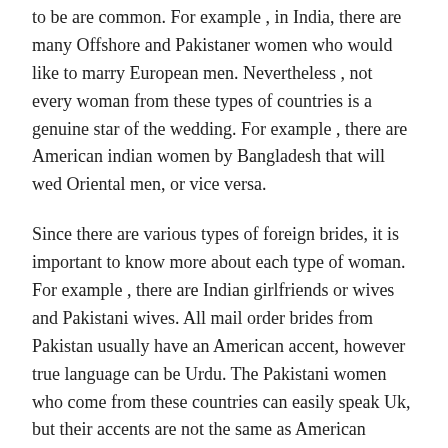to be are common. For example , in India, there are many Offshore and Pakistaner women who would like to marry European men. Nevertheless , not every woman from these types of countries is a genuine star of the wedding. For example , there are American indian women by Bangladesh that will wed Oriental men, or vice versa.
Since there are various types of foreign brides, it is important to know more about each type of woman. For example , there are Indian girlfriends or wives and Pakistani wives. All mail order brides from Pakistan usually have an American accent, however true language can be Urdu. The Pakistani women who come from these countries can easily speak Uk, but their accents are not the same as American accents.
You must keep in mind that there could possibly be cases where a mail purchase bride was found out being married to someone the lady did not imply to be in a relationship with